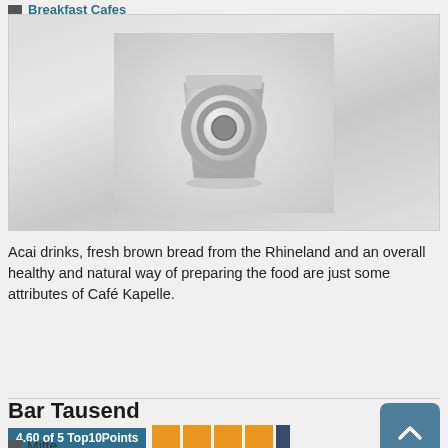Breakfast Cafes
[Figure (photo): Placeholder image of a cup/mug, light gray background with a swirled circular shape]
Acai drinks, fresh brown bread from the Rhineland and an overall healthy and natural way of preparing the food are just some attributes of Café Kapelle.
Show Location
Bar Tausend
4.60 of 5 Top10Points
Mitte